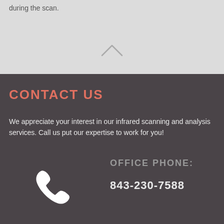during the scan.
[Figure (illustration): Upward pointing chevron/caret icon in light gray]
CONTACT US
We appreciate your interest in our infrared scanning and analysis services. Call us put our expertise to work for you!
[Figure (illustration): White telephone/phone handset icon]
OFFICE PHONE:
843-230-7588